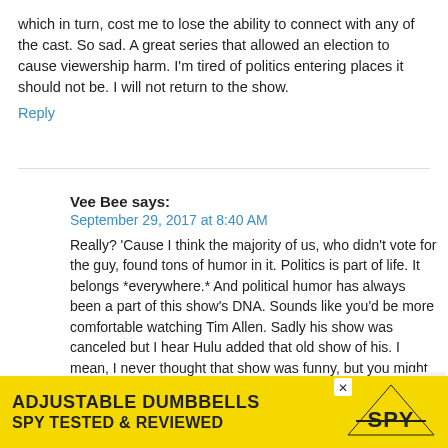which in turn, cost me to lose the ability to connect with any of the cast. So sad. A great series that allowed an election to cause viewership harm. I'm tired of politics entering places it should not be. I will not return to the show.
Reply
Vee Bee says:
September 29, 2017 at 8:40 AM
Really? 'Cause I think the majority of us, who didn't vote for the guy, found tons of humor in it. Politics is part of life. It belongs *everywhere.* And political humor has always been a part of this show's DNA. Sounds like you'd be more comfortable watching Tim Allen. Sadly his show was canceled but I hear Hulu added that old show of his. I mean, I never thought that show was funny, but you might love it!
Reply
[Figure (other): Advertisement banner for Adjustable Dumbbells by SPY, yellow background with bold black text reading 'ADJUSTABLE DUMBBELLS SPY TESTED & REVIEWED' with SPY logo]